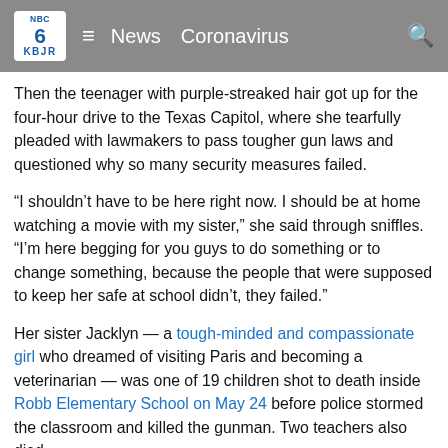KBJR NBC 6  ≡  News  Coronavirus  🔍
Then the teenager with purple-streaked hair got up for the four-hour drive to the Texas Capitol, where she tearfully pleaded with lawmakers to pass tougher gun laws and questioned why so many security measures failed.
“I shouldn’t have to be here right now. I should be at home watching a movie with my sister,” she said through sniffles. “I’m here begging for you guys to do something or to change something, because the people that were supposed to keep her safe at school didn’t, they failed.”
Her sister Jacklyn — a tough-minded and compassionate girl who dreamed of visiting Paris and becoming a veterinarian — was one of 19 children shot to death inside Robb Elementary School on May 24 before police stormed the classroom and killed the gunman. Two teachers also died.